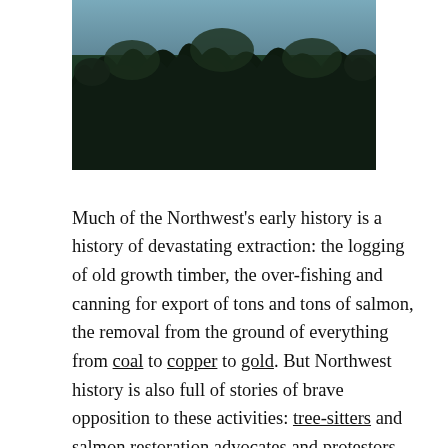[Figure (photo): Dark forest/nature photo showing trees silhouetted against a dusky blue sky, taken at twilight or dawn]
Much of the Northwest's early history is a history of devastating extraction: the logging of old growth timber, the over-fishing and canning for export of tons and tons of salmon, the removal from the ground of everything from coal to copper to gold. But Northwest history is also full of stories of brave opposition to these activities: tree-sitters and salmon restoration advocates and protestors who have blocked the digging of new mines.
As Klein says about a coalition that worked to stop the building of a pipeline across British Columbia, Northwesterners are well aware of how fortunate we are to still have access to pristine natural environments. We're also aware that we have lost too many of those